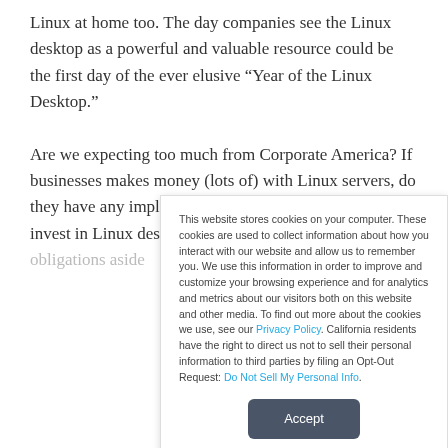Linux at home too. The day companies see the Linux desktop as a powerful and valuable resource could be the first day of the ever elusive “Year of the Linux Desktop.”

Are we expecting too much from Corporate America? If businesses makes money (lots of) with Linux servers, do they have any implied moral or ethical obligation to invest in Linux desktops? Some say that those obligations aside...
This website stores cookies on your computer. These cookies are used to collect information about how you interact with our website and allow us to remember you. We use this information in order to improve and customize your browsing experience and for analytics and metrics about our visitors both on this website and other media. To find out more about the cookies we use, see our Privacy Policy. California residents have the right to direct us not to sell their personal information to third parties by filing an Opt-Out Request: Do Not Sell My Personal Info.